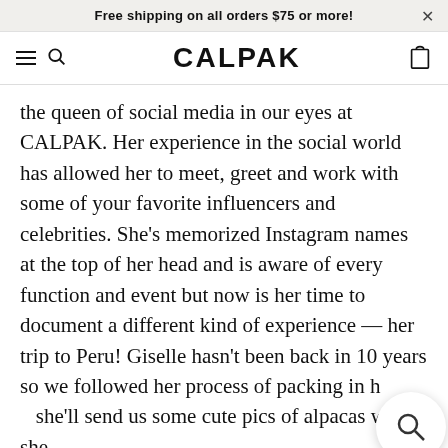Free shipping on all orders $75 or more!
CALPAK
the queen of social media in our eyes at CALPAK. Her experience in the social world has allowed her to meet, greet and work with some of your favorite influencers and celebrities. She's memorized Instagram names at the top of her head and is aware of every function and event but now is her time to document a different kind of experience — her trip to Peru! Giselle hasn't been back in 10 years so we followed her process of packing in h... she'll send us some cute pics of alpacas while she...
[Figure (screenshot): Video thumbnail showing CALPAK packed luggage with title 'PACKED UP for 8 Days in Peru w/...' and stylized 'PACKED UP' text in gold italic font]